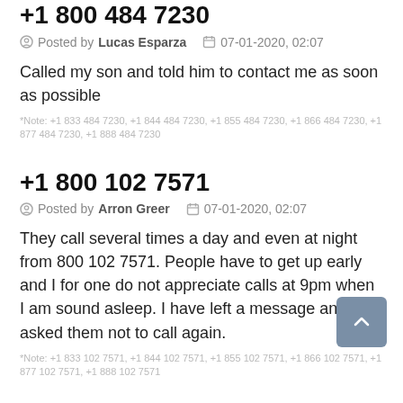+1 800 484 7230
Posted by Lucas Esparza   07-01-2020, 02:07
Called my son and told him to contact me as soon as possible
*Note: +1 833 484 7230, +1 844 484 7230, +1 855 484 7230, +1 866 484 7230, +1 877 484 7230, +1 888 484 7230
+1 800 102 7571
Posted by Arron Greer   07-01-2020, 02:07
They call several times a day and even at night from 800 102 7571. People have to get up early and I for one do not appreciate calls at 9pm when I am sound asleep. I have left a message and asked them not to call again.
*Note: +1 833 102 7571, +1 844 102 7571, +1 855 102 7571, +1 866 102 7571, +1 877 102 7571, +1 888 102 7571
+1 800 720 7912